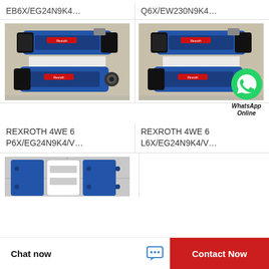EB6X/EG24N9K4…
Q6X/EW230N9K4…
[Figure (photo): REXROTH hydraulic directional control valve, blue, on warehouse floor]
[Figure (photo): REXROTH hydraulic directional control valve, blue, with WhatsApp Online overlay]
REXROTH 4WE 6 P6X/EG24N9K4/V…
REXROTH 4WE 6 L6X/EG24N9K4/V…
[Figure (photo): Multiple REXROTH hydraulic directional control valves, blue and white, on floor]
Chat now
Contact Now